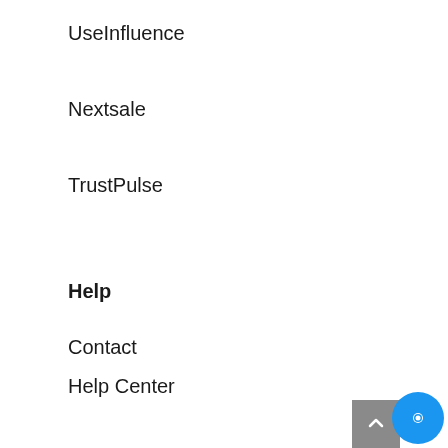UseInfluence
Nextsale
TrustPulse
Help
Contact
Help Center
Status
Affiliate Program